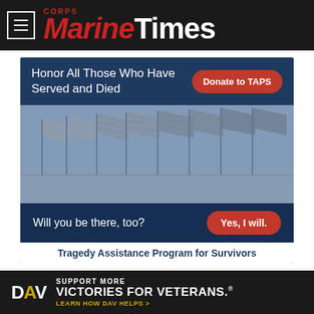Marine Corps Times
[Figure (infographic): TAPS advertisement banner: 'Honor All Those Who Have Served and Died' with 'Donate to TAPS' button, photo of American flags at memorial, 'Will you be there, too?' with 'Yes, I will.' button, and 'Tragedy Assistance Program for Survivors' footer]
"I didn't expect it to go so far," Reyes said of the criticism he experienced. "In today's era of social
[Figure (infographic): DAV advertisement: 'Support More Victories for Veterans. Learn How DAV Helps']